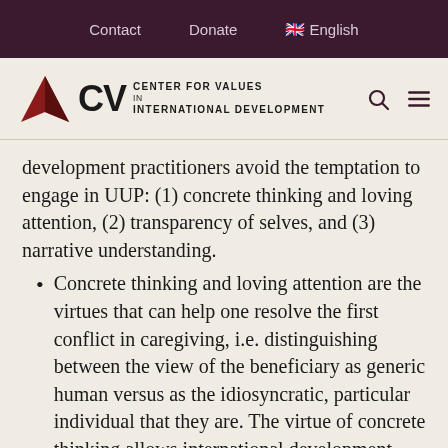Contact   Donate   🇬🇧 English
[Figure (logo): ACV Center for Values in International Development logo with red arrow]
development practitioners avoid the temptation to engage in UUP: (1) concrete thinking and loving attention, (2) transparency of selves, and (3) narrative understanding.
Concrete thinking and loving attention are the virtues that can help one resolve the first conflict in caregiving, i.e. distinguishing between the view of the beneficiary as generic human versus as the idiosyncratic, particular individual that they are. The virtue of concrete thinking allows international development practitioners to reinterpret